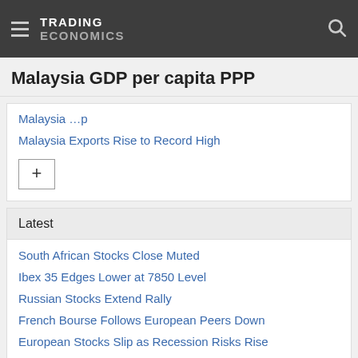TRADING ECONOMICS
Malaysia GDP per capita PPP
Malaysia Exports Rise to Record High
Latest
South African Stocks Close Muted
Ibex 35 Edges Lower at 7850 Level
Russian Stocks Extend Rally
French Bourse Follows European Peers Down
European Stocks Slip as Recession Risks Rise
Italian Stocks Start Week with Losses
Brazil Services PMI Eases Further in August